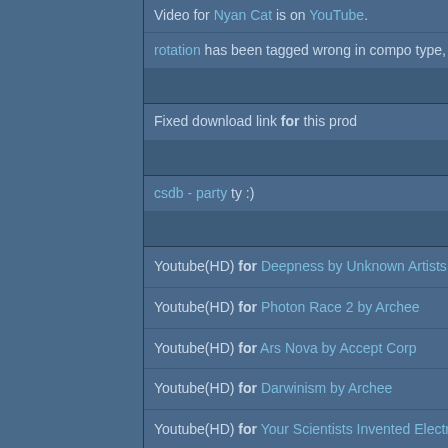Video for Nyan Cat is on YouTube.
rotation has been tagged wrong in compo type, which should be 8bit demo instead.
added on the 2011-08-09 21:05:20 by Luca/FIRE
Fixed download link for this prod
added on the 2011-08-11 07:50:06 by closed
csdb - party ty :)
added on the 2011-08-11 08:56:30 by Defiance
Youtube(HD) for Deepness by Unknown Artists
Youtube(HD) for Photon Race 2 by Archee
Youtube(HD) for Ars Nova by Accept Corp
Youtube(HD) for Darwinism by Archee
Youtube(HD) for Your Scientists Invented Electricity by T-Rex
Youtube(HD) for Feet4 by AND
Youtube(HD) for Genome by Accept Corp
Youtube(HD) for bakkslide 7 by hellcore & omnicolour
Youtube(HD) for Insert Coin by fuzzion & threepixels
Youtube(HD) for It's Full of Stars by Traction